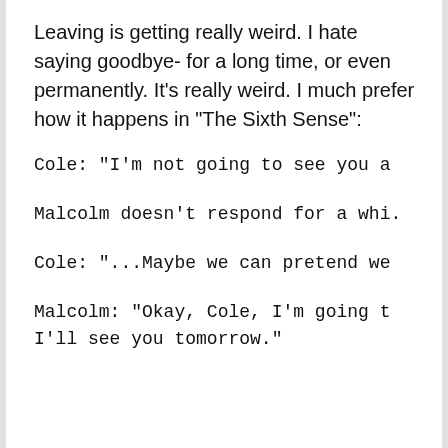Leaving is getting really weird. I hate saying goodbye- for a long time, or even permanently. It’s really weird. I much prefer how it happens in “The Sixth Sense”:
Cole: "I'm not going to see you a
Malcolm doesn't respond for a whi.
Cole: "...Maybe we can pretend we
Malcolm: "Okay, Cole, I'm going t I'll see you tomorrow."